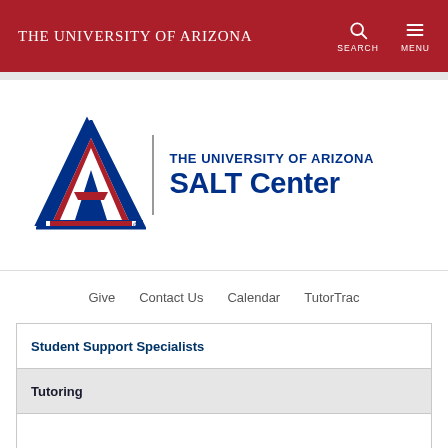The University of Arizona — SEARCH MENU
[Figure (logo): The University of Arizona SALT Center logo with block letter A and vertical divider]
Give   Contact Us   Calendar   TutorTrac
Student Support Specialists
Tutoring